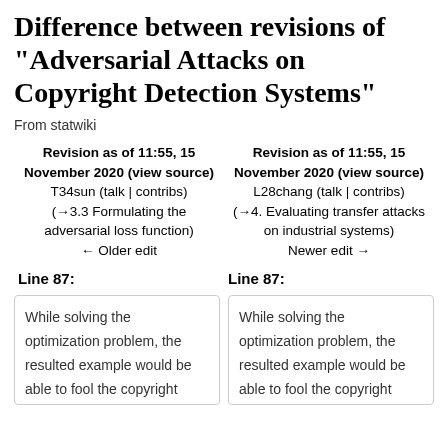Difference between revisions of "Adversarial Attacks on Copyright Detection Systems"
From statwiki
Revision as of 11:55, 15 November 2020 (view source)
T34sun (talk | contribs)
(→3.3 Formulating the adversarial loss function)
← Older edit
Revision as of 11:55, 15 November 2020 (view source)
L28chang (talk | contribs)
(→4. Evaluating transfer attacks on industrial systems)
Newer edit →
Line 87:
Line 87:
While solving the optimization problem, the resulted example would be able to fool the copyright detection system. But it could sound unnatural with the
While solving the optimization problem, the resulted example would be able to fool the copyright detection system. But it could sound unnatural with the